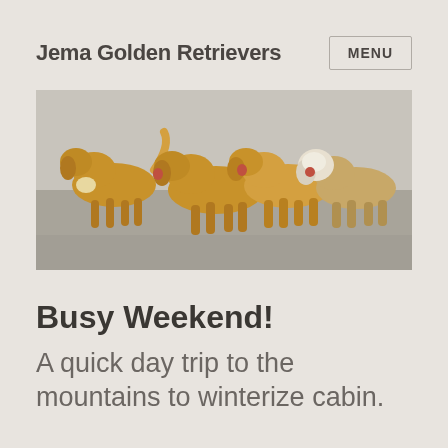Jema Golden Retrievers   MENU
[Figure (photo): Four golden retrievers running together across an open grassy/dirt field, one of which appears lighter/white-faced. The dogs are in motion, mouths open, appearing joyful.]
Busy Weekend!
A quick day trip to the mountains to winterize cabin.